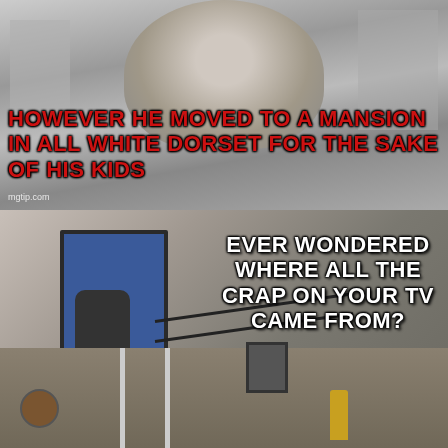[Figure (photo): Black and white photo of an older white-haired man outdoors with building in background. Bold red text overlay reads: 'HOWEVER HE MOVED TO A MANSION IN ALL WHITE DORSET FOR THE SAKE OF HIS KIDS'. Watermark 'mgtip.com' visible.]
[Figure (photo): Color photo of an elderly bearded man sitting on a toilet on an elevated platform/mezzanine level accessed by ladder, next to a blue door. White bold text overlay reads: 'EVER WONDERED WHERE ALL THE CRAP ON YOUR TV CAME FROM?']